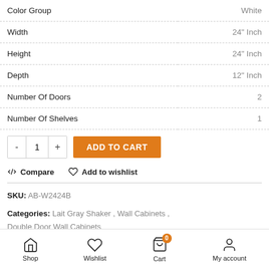| Attribute | Value |
| --- | --- |
| Color Group | White |
| Width | 24" Inch |
| Height | 24" Inch |
| Depth | 12" Inch |
| Number Of Doors | 2 |
| Number Of Shelves | 1 |
- 1 + ADD TO CART
Compare  Add to wishlist
SKU: AB-W2424B
Categories: Lait Gray Shaker, Wall Cabinets, Double Door Wall Cabinets
Shop  Wishlist  Cart  My account